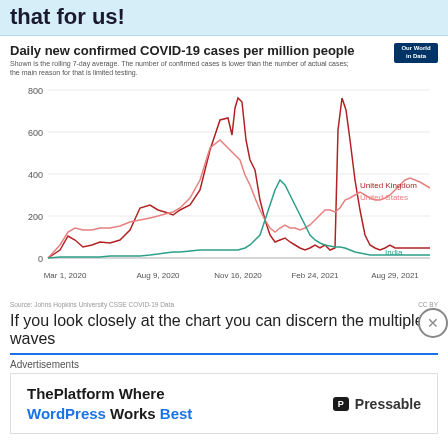that for us!
[Figure (line-chart): Multi-line chart showing daily new confirmed COVID-19 cases per million people for United Kingdom, United States, and India from March 2020 to late 2021. Y-axis goes from 0 to about 900+.]
Source: Johns Hopkins University CSSE COVID-19 Data   CC BY
If you look closely at the chart you can discern the multiple waves
Advertisements
ThePlatform Where WordPress Works Best